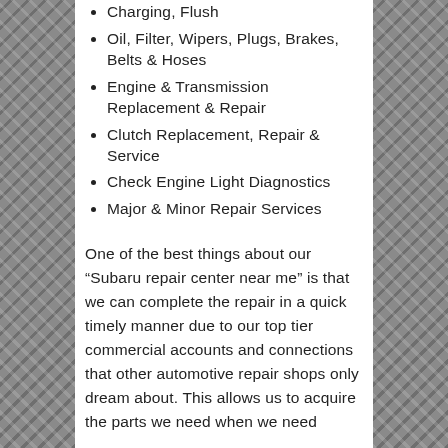Charging, Flush
Oil, Filter, Wipers, Plugs, Brakes, Belts & Hoses
Engine & Transmission Replacement & Repair
Clutch Replacement, Repair & Service
Check Engine Light Diagnostics
Major & Minor Repair Services
One of the best things about our “Subaru repair center near me” is that we can complete the repair in a quick timely manner due to our top tier commercial accounts and connections that other automotive repair shops only dream about. This allows us to acquire the parts we need when we need